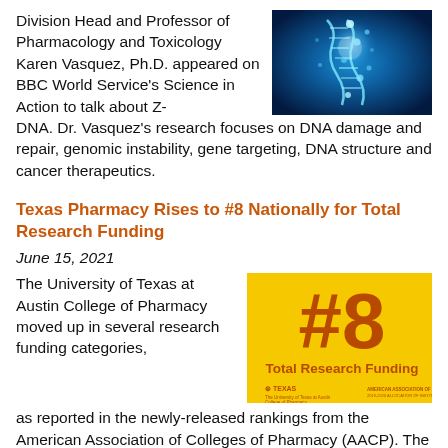Division Head and Professor of Pharmacology and Toxicology Karen Vasquez, Ph.D. appeared on BBC World Service's Science in Action to talk about Z-DNA. Dr. Vasquez's research focuses on DNA damage and repair, genomic instability, gene targeting, DNA structure and cancer therapeutics.
[Figure (photo): Blue glowing DNA double helix illustration on dark background]
Texas Pharmacy Rises to #8 Nationally for Total Research Funding
June 15, 2021
The University of Texas at Austin College of Pharmacy moved up in several research funding categories, as reported in the newly-released rankings from the American Association of Colleges of Pharmacy (AACP). The college rose to #8 nationally in total research funding during the 2019-2020 fiscal year,
[Figure (infographic): Yellow infographic showing #8 Total Research Funding with UT Texas and AACP logos]